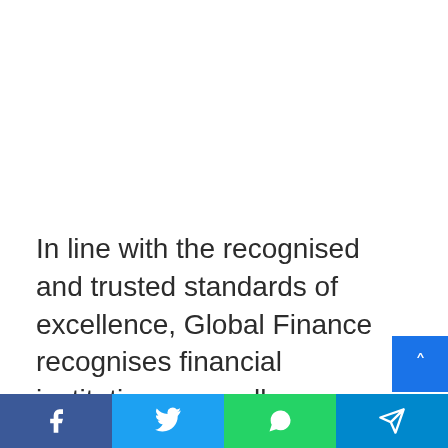In line with the recognised and trusted standards of excellence, Global Finance recognises financial institutions annually.
FirstBank, Deputy Managing Director...
Social share bar: Facebook, Twitter, WhatsApp, Telegram